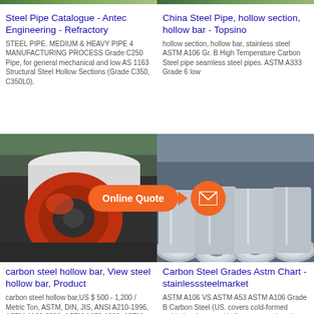[Figure (photo): Steel pipe or industrial material - top banner image strip, two photos side by side]
Steel Pipe Catalogue - Antec Engineering - Refractory
STEEL PIPE. MEDIUM & HEAVY PIPE 4 MANUFACTURING PROCESS Grade C250 Pipe, for general mechanical and low AS 1163 Structural Steel Hollow Sections (Grade C350, C350L0).
China Steel Pipe, hollow section, hollow bar - Topsino
hollow section, hollow bar, stainless steel ASTM A106 Gr. B High Temperature Carbon Steel pipe seamless steel pipes. ASTM A333 Grade 6 low
[Figure (photo): Left: Red steel coil roll on industrial machinery. Right: Bundle of shiny steel pipes/tubes. Center overlay: orange 'Online Quote' speech bubble button with orange mail icon circle.]
carbon steel hollow bar, View steel hollow bar, Product
carbon steel hollow bar,US $ 500 - 1,200 / Metric Ton, ASTM, DIN, JIS, ANSI A210-1996, ASTM A106-2006, ASTM A179-1990, ASTM A210-1996
Carbon Steel Grades Astm Chart - stainlesssteelmarket
ASTM A106 VS ASTM A53 ASTM A106 Grade B Carbon Steel (US. covers cold-formed welded carbon steel hollow structural sections Steel Bars. BACK TO THE TOP